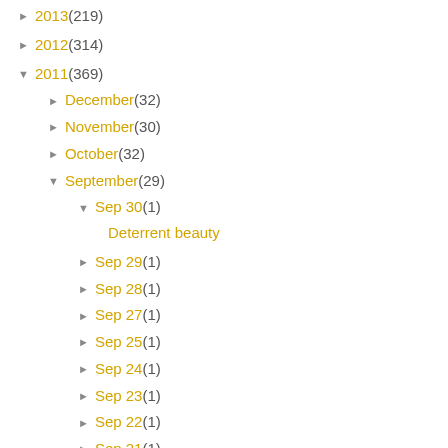► 2013 (219)
► 2012 (314)
▼ 2011 (369)
► December (32)
► November (30)
► October (32)
▼ September (29)
▼ Sep 30 (1)
Deterrent beauty
► Sep 29 (1)
► Sep 28 (1)
► Sep 27 (1)
► Sep 25 (1)
► Sep 24 (1)
► Sep 23 (1)
► Sep 22 (1)
► Sep 21 (1)